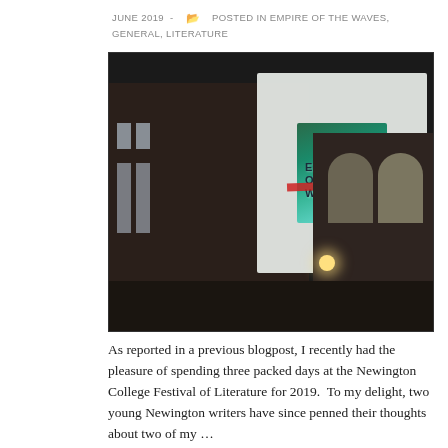JUNE 2019  -  ⏵ POSTED IN EMPIRE OF THE WAVES, GENERAL, LITERATURE
[Figure (photo): Night-time photograph of a building exterior with a book cover for 'Empire of the Waves' projected in large scale onto the white wall. The projection shows colorful fantasy artwork with the title text. The surrounding scene is dark, with lit windows and arched architecture visible to the right.]
As reported in a previous blogpost, I recently had the pleasure of spending three packed days at the Newington College Festival of Literature for 2019.  To my delight, two young Newington writers have since penned their thoughts about two of my …